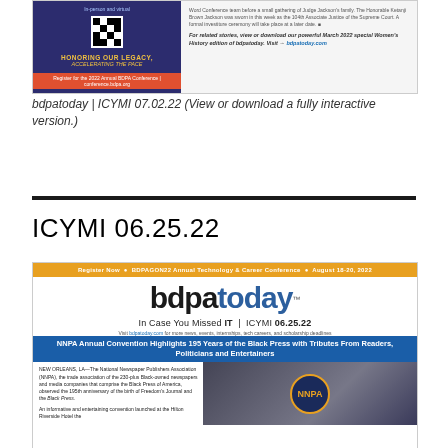[Figure (screenshot): Screenshot of bdpatoday newsletter ICYMI 07.02.22, showing a dark blue left panel with 'HONORING OUR LEGACY, ACCELERATING THE PACE' text and QR code, and right panel with article text about Ketanji Brown Jackson being sworn in as 104th Associate Justice of the Supreme Court.]
bdpatoday | ICYMI 07.02.22 (View or download a fully interactive version.)
[Figure (screenshot): Screenshot of bdpatoday newsletter ICYMI 06.25.22, featuring orange top banner 'Register Now • BDPAGON22 Annual Technology & Career Conference • August 18-20, 2022', bdpatoday logo, subtitle 'In Case You Missed IT | ICYMI 06.25.22', headline 'NNPA Annual Convention Highlights 195 Years of the Black Press with Tributes From Readers, Politicians and Entertainers', and article body text with photo of NNPA display.]